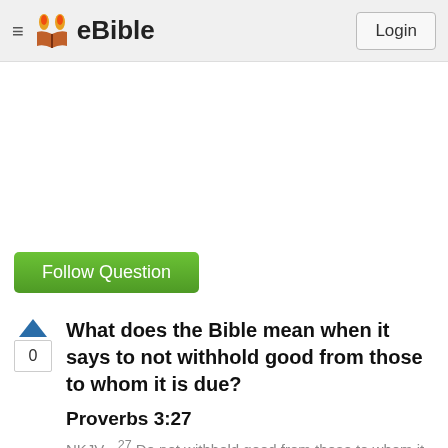eBible | Login
Follow Question
What does the Bible mean when it says to not withhold good from those to whom it is due?
Proverbs 3:27
NKJV - 27 Do not withhold good from those to whom it is due, When it is in the power of your hand to do so.
Asked August 10 2015 • Clarify
Chijioke Nnaka